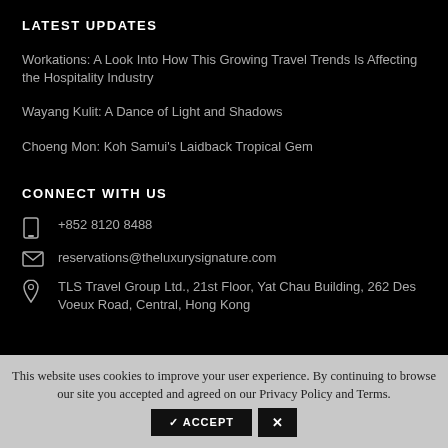LATEST UPDATES
Workations: A Look Into How This Growing Travel Trends Is Affecting the Hospitality Industry
Wayang Kulit: A Dance of Light and Shadows
Choeng Mon: Koh Samui's Laidback Tropical Gem
CONNECT WITH US
+852 8120 8488
reservations@theluxurysignature.com
TLS Travel Group Ltd., 21st Floor, Yat Chau Building, 262 Des Voeux Road, Central, Hong Kong
This website uses cookies to improve your user experience. By continuing to browse our site you accepted and agreed on our Privacy Policy and Terms.